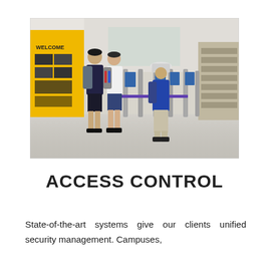[Figure (photo): People with backpacks passing through security turnstile gates in a modern building lobby. A yellow 'WELCOME' sign is visible on the left wall.]
ACCESS CONTROL
State-of-the-art systems give our clients unified security management. Campuses,